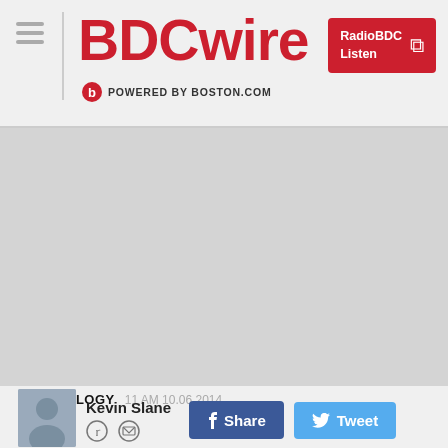BDCwire — POWERED BY BOSTON.COM — RadioBDC Listen
[Figure (photo): Large grey placeholder image area]
TECHNOLOGY   11 AM 10.06.2014
Kevin Slane
[Figure (other): Share and Tweet social buttons]